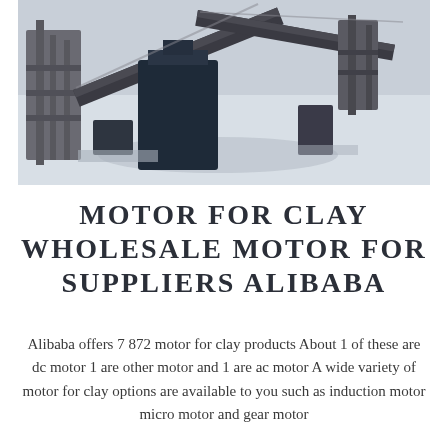[Figure (photo): Aerial view of an industrial mining or quarrying facility with conveyor belts, machinery, and structures on a snowy or dusty white ground. Large structural metal frameworks and conveyor systems are visible.]
MOTOR FOR CLAY WHOLESALE MOTOR FOR SUPPLIERS ALIBABA
Alibaba offers 7 872 motor for clay products About 1 of these are dc motor 1 are other motor and 1 are ac motor A wide variety of motor for clay options are available to you such as induction motor micro motor and gear motor